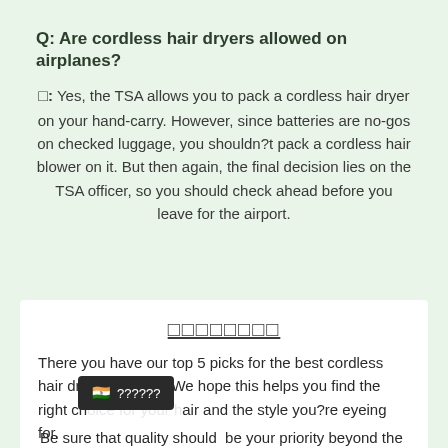Q: Are cordless hair dryers allowed on airplanes?
¤: Yes, the TSA allows you to pack a cordless hair dryer on your hand-carry. However, since batteries are no-gos on checked luggage, you shouldn?t pack a cordless hair blower on it. But then again, the final decision lies on the TSA officer, so you should check ahead before you leave for the airport.
□□□□□□□□
There you have our top 5 picks for the best cordless hair dryer products! We hope this helps you find the right choice for your hair and the style you?re eyeing for.
Be sure that quality should be your priority beyond the